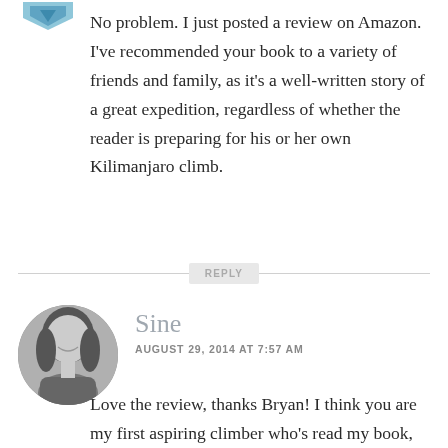[Figure (illustration): Teal/blue decorative arrow or chevron icon at top left]
No problem. I just posted a review on Amazon. I've recommended your book to a variety of friends and family, as it's a well-written story of a great expedition, regardless of whether the reader is preparing for his or her own Kilimanjaro climb.
REPLY
[Figure (photo): Black and white circular avatar photo of a smiling woman with long hair]
Sine
AUGUST 29, 2014 AT 7:57 AM
Love the review, thanks Bryan! I think you are my first aspiring climber who's read my book, that's why I'm so excited. Especially that you put it in the same league as Henry Stedman's guide. I know